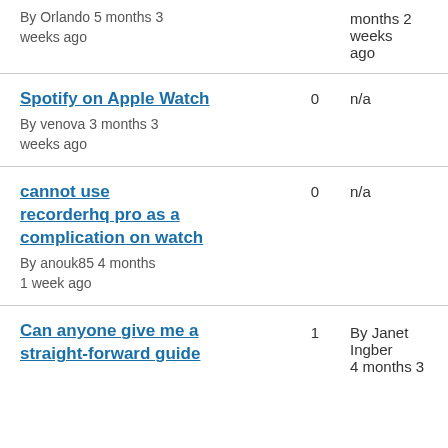By Orlando 5 months 3 weeks ago
months 2 weeks ago
Spotify on Apple Watch
By venova 3 months 3 weeks ago
0
n/a
cannot use recorderhq pro as a complication on watch
By anouk85 4 months 1 week ago
0
n/a
Can anyone give me a straight-forward guide
1
By Janet Ingber 4 months 3...